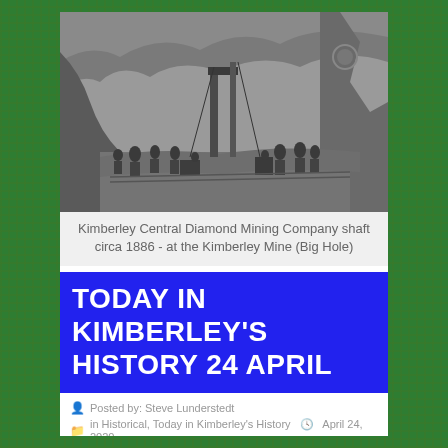[Figure (photo): Black and white historical photograph of Kimberley Central Diamond Mining Company shaft circa 1886, showing workers and mining equipment at the Kimberley Mine (Big Hole)]
Kimberley Central Diamond Mining Company shaft circa 1886 - at the Kimberley Mine (Big Hole)
TODAY IN KIMBERLEY'S HISTORY 24 APRIL
Posted by: Steve Lunderstedt
in Historical, Today in Kimberley's History   April 24, 2020
UPDATE: 24/04/2020